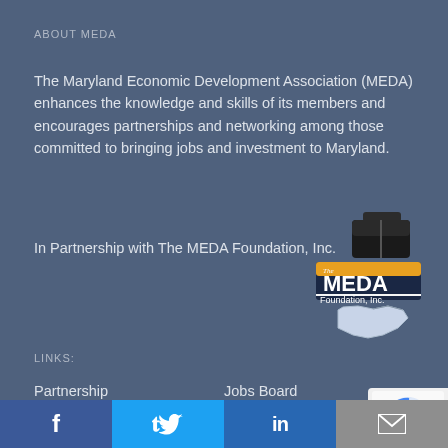ABOUT MEDA
The Maryland Economic Development Association (MEDA) enhances the knowledge and skills of its members and encourages partnerships and networking among those committed to bringing jobs and investment to Maryland.
In Partnership with The MEDA Foundation, Inc.
[Figure (logo): MEDA Foundation, Inc. logo with briefcase and Maryland state outline]
LINKS:
Partnership
Jobs Board
Events
Join MEDA
[Figure (logo): reCAPTCHA badge]
Facebook  Twitter  LinkedIn  Email (social share bar)